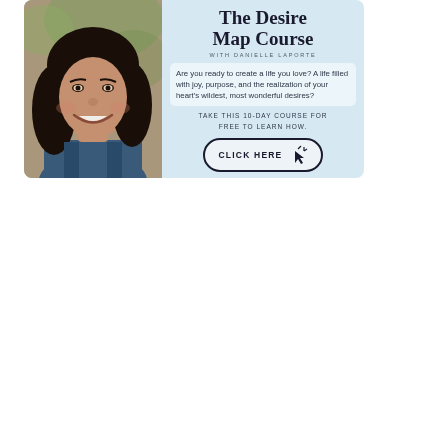[Figure (infographic): Advertisement banner for 'The Desire Map Course with Danielle LaPorte'. Features a circular photo of a smiling woman with dark hair on the left, and text on the right including the course title, subtitle 'WITH DANIELLE LAPORTE', a description about creating a life you love, a call-to-action 'TAKE THIS 10-DAY COURSE FOR FREE TO LEARN HOW.', and a 'CLICK HERE' button with a cursor icon.]